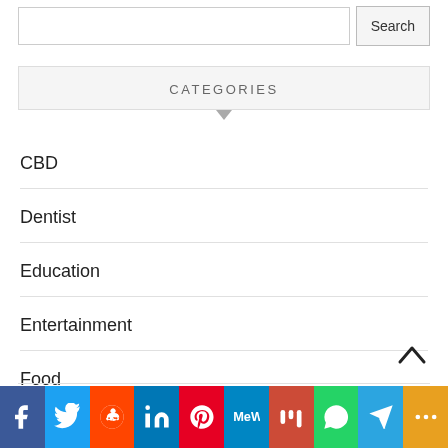CATEGORIES
CBD
Dentist
Education
Entertainment
Food
Gaming
[Figure (infographic): Social sharing bar with icons: Facebook, Twitter, Reddit, LinkedIn, Pinterest, MeWe, Mix, WhatsApp, Telegram, More]